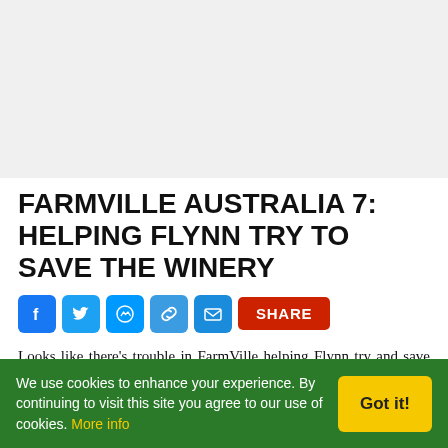[Figure (other): Advertisement placeholder / banner area (light gray)]
FARMVILLE AUSTRALIA 7: HELPING FLYNN TRY TO SAVE THE WINERY
[Figure (other): Social sharing buttons: Facebook, Twitter, Messenger, copy link, Email, and a red SHARE button]
Looks like there’s trouble in FarmVille helping Flynn try and save the Winery, a FarmVille Australia Chapter 7 Quests. We will also try to help out Flynn in catching the Drop Bear. This elusive
We use cookies to enhance your experience. By continuing to visit this site you agree to our use of cookies. More info